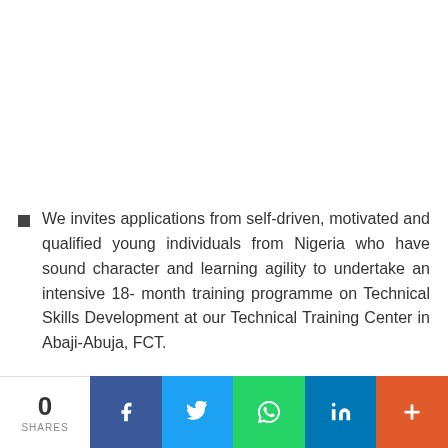We invites applications from self-driven, motivated and qualified young individuals from Nigeria who have sound character and learning agility to undertake an intensive 18- month training programme on Technical Skills Development at our Technical Training Center in Abaji-Abuja, FCT.
0 SHARES | Facebook | Twitter | WhatsApp | LinkedIn | More